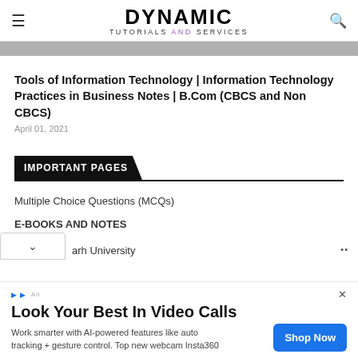DYNAMIC TUTORIALS AND SERVICES
Tools of Information Technology | Information Technology Practices in Business Notes | B.Com (CBCS and Non CBCS)
April 01, 2021
IMPORTANT PAGES
Multiple Choice Questions (MCQs)
E-BOOKS AND NOTES
AHSEC
arh University
[Figure (screenshot): Advertisement banner: 'Look Your Best In Video Calls' with Shop Now button and Insta360 webcam product description]